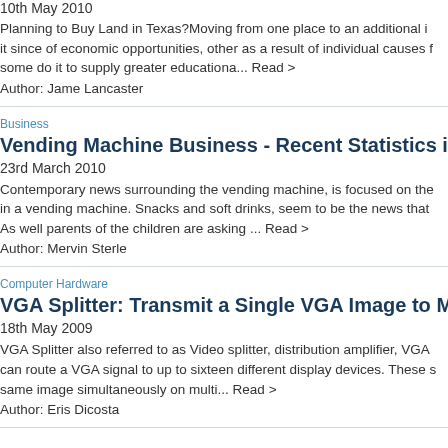10th May 2010
Planning to Buy Land in Texas?Moving from one place to an additional it since of economic opportunities, other as a result of individual causes some do it to supply greater educationa... Read >
Author: Jame Lancaster
Business
Vending Machine Business - Recent Statistics in Vending
23rd March 2010
Contemporary news surrounding the vending machine, is focused on the in a vending machine. Snacks and soft drinks, seem to be the news that As well parents of the children are asking ... Read >
Author: Mervin Sterle
Computer Hardware
VGA Splitter: Transmit a Single VGA Image to Multiple VGA
18th May 2009
VGA Splitter also referred to as Video splitter, distribution amplifier, VGA can route a VGA signal to up to sixteen different display devices. These same image simultaneously on multi... Read >
Author: Eris Dicosta